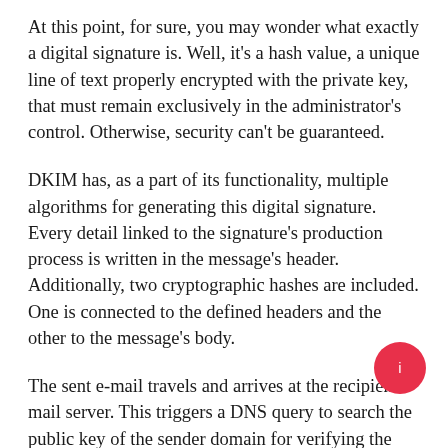At this point, for sure, you may wonder what exactly a digital signature is. Well, it's a hash value, a unique line of text properly encrypted with the private key, that must remain exclusively in the administrator's control. Otherwise, security can't be guaranteed.
DKIM has, as a part of its functionality, multiple algorithms for generating this digital signature. Every detail linked to the signature's production process is written in the message's header. Additionally, two cryptographic hashes are included. One is connected to the defined headers and the other to the message's body.
The sent e-mail travels and arrives at the recipient mail server. This triggers a DNS query to search the public key of the sender domain for verifying the message. The recipient mail server gets it and proceeds to decrypt the digital signa... The hash values can now be compared with the values within the message. A match of these values will define the